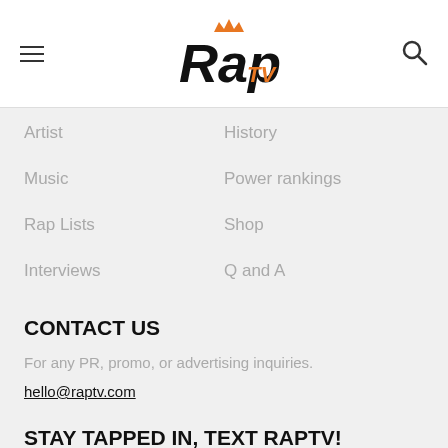[Figure (logo): Rap TV logo with crown in orange and black handwritten text]
Artist
History
Music
Power rankings
Rap Lists
Shop
Interviews
Q and A
CONTACT US
For any PR, promo, or advertising inquiries.
hello@raptv.com
STAY TAPPED IN, TEXT RAPTV!